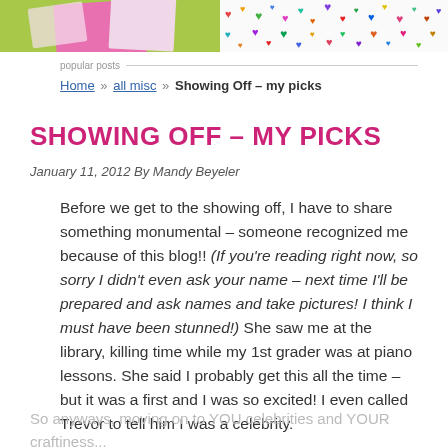[Figure (photo): Two photos side by side at top: left shows pink card on green background, right shows colorful heart pattern on white background]
popular posts
Home » all misc » Showing Off – my picks
SHOWING OFF – MY PICKS
January 11, 2012 By Mandy Beyeler
Before we get to the showing off, I have to share something monumental – someone recognized me because of this blog!! (If you're reading right now, so sorry I didn't even ask your name – next time I'll be prepared and ask names and take pictures! I think I must have been stunned!)  She saw me at the library, killing time while my 1st grader was at piano lessons.  She said I probably get this all the time – but it was a first and I was so excited!  I even called Trevor to tell him I was a celebrity.
So anyways, moving on to YOU celebrities and YOUR craftiness...